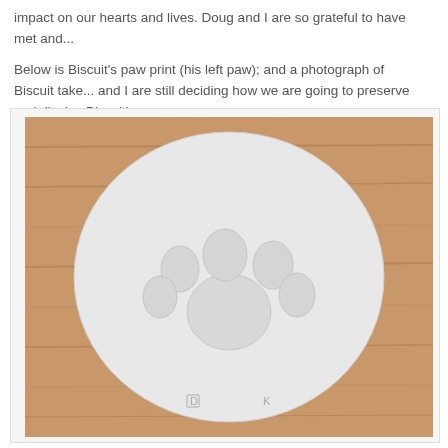impact on our hearts and lives. Doug and I are so grateful to have met and...
Below is Biscuit's paw print (his left paw); and a photograph of Biscuit take... and I are still deciding how we are going to preserve and display Biscuit's p...
[Figure (photo): A photograph of a white clay oval plaque with a dog paw print impression (Biscuit's left paw) on a wooden surface. The plaque shows four toe impressions and a pad impression. Small letters appear at the bottom of the plaque.]